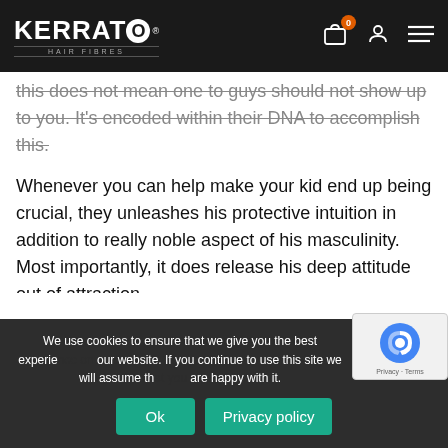KERRATO HAIR FIBRES
this does not mean one to guys should not show up to you. It's encoded within their DNA to accomplish this.
Whenever you can help make your kid end up being crucial, they unleashes his protective intuition in addition to really noble aspect of his masculinity. Most importantly, it does release his deep attitude out of attraction.
What are love: Regarding a love, the guy has to discover
We use cookies to ensure that we give you the best experience on our website. If you continue to use this site we will assume that you are happy with it.